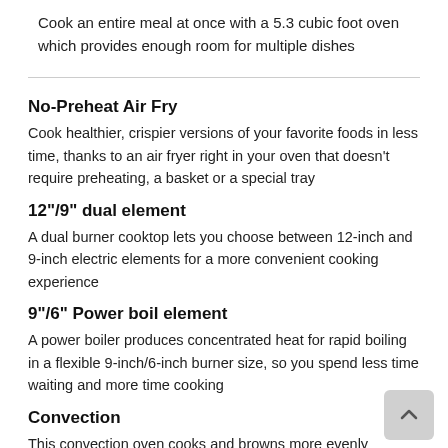Cook an entire meal at once with a 5.3 cubic foot oven which provides enough room for multiple dishes
No-Preheat Air Fry
Cook healthier, crispier versions of your favorite foods in less time, thanks to an air fryer right in your oven that doesn't require preheating, a basket or a special tray
12"/9" dual element
A dual burner cooktop lets you choose between 12-inch and 9-inch electric elements for a more convenient cooking experience
9"/6" Power boil element
A power boiler produces concentrated heat for rapid boiling in a flexible 9-inch/6-inch burner size, so you spend less time waiting and more time cooking
Convection
This convection oven cooks and browns more evenly